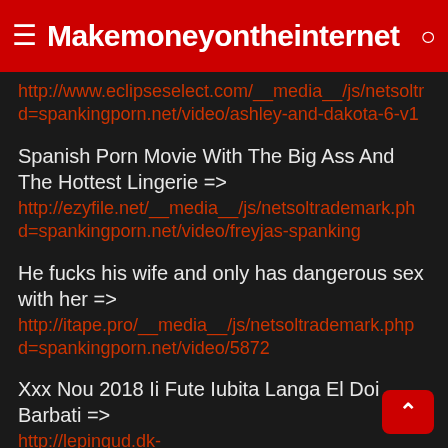≡ Makemoneyontheinternet 🔍
http://www.eclipseselect.com/__media__/js/netsoltrademark.php?d=spankingporn.net/video/ashley-and-dakota-6-v1
Spanish Porn Movie With The Big Ass And The Hottest Lingerie => http://ezyfile.net/__media__/js/netsoltrademark.php?d=spankingporn.net/video/freyjas-spanking
He fucks his wife and only has dangerous sex with her => http://itape.pro/__media__/js/netsoltrademark.php?d=spankingporn.net/video/5872
Xxx Nou 2018 Ii Fute Iubita Langa El Doi Barbati => http://lepingud.dk-accessories.com/__media__/js/netsoltrademark.php?d=spankingporn.net/video/naughty-femdom-porn-experience
Porn Takes His Wife To Fuck Her With A Big Cock